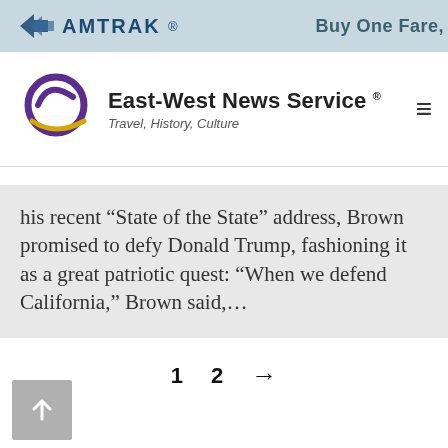[Figure (logo): Amtrak banner advertisement with text 'Buy One Fare,']
[Figure (logo): East-West News Service logo with tagline Travel, History, Culture and hamburger menu icon]
his recent “State of the State” address, Brown promised to defy Donald Trump, fashioning it as a great patriotic quest: “When we defend California,” Brown said,…
1  2  →
[Figure (other): Scroll-to-top button with upward arrow]